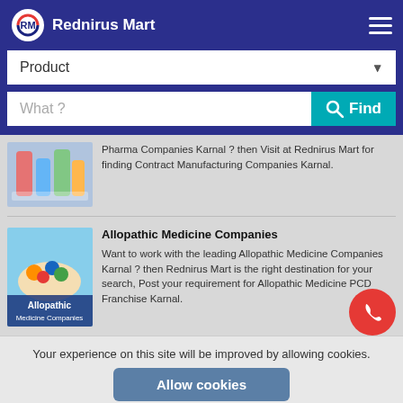Rednirus Mart
Product
What ?
Pharma Companies Karnal ? then Visit at Rednirus Mart for finding Contract Manufacturing Companies Karnal.
[Figure (photo): Image of pharmaceutical bottles and pills in blue background]
Allopathic Medicine Companies
[Figure (photo): Allopathic Medicine Companies - hand holding pills image with label overlay]
Want to work with the leading Allopathic Medicine Companies Karnal ? then Rednirus Mart is the right destination for your search, Post your requirement for Allopathic Medicine PCD Franchise Karnal.
Your experience on this site will be improved by allowing cookies.
Allow cookies